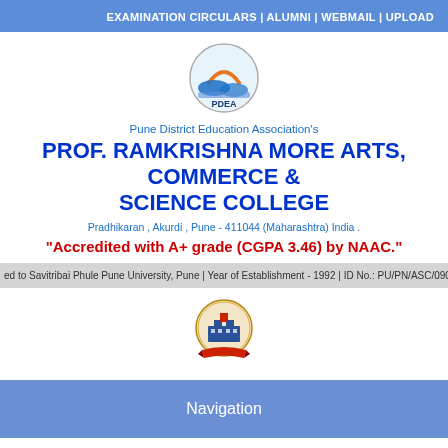EXAMINATION CIRCULARS | ALUMNI | WEBMAIL | UPLOAD
[Figure (logo): PDEA circular logo with stylized landscape and text]
Pune District Education Association's
PROF. RAMKRISHNA MORE ARTS, COMMERCE & SCIENCE COLLEGE
Pradhikaran , Akurdi , Pune - 411044 (Maharashtra) India .
"Accredited with A+ grade (CGPA 3.46) by NAAC."
ed to Savitribai Phule Pune University, Pune | Year of Establishment - 1992 | ID No.: PU/PN/ASC/090/1992
[Figure (logo): College circular emblem/seal with building illustration]
Navigation